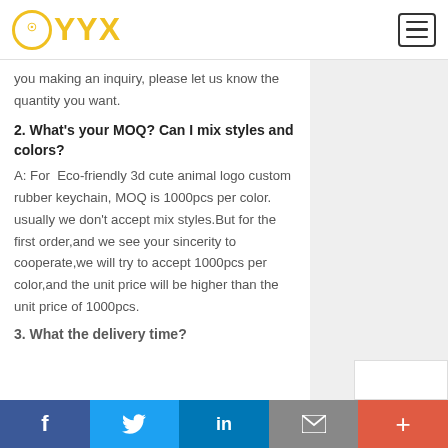YYX
you making an inquiry, please let us know the quantity you want.
2. What's your MOQ? Can I mix styles and colors?
A: For  Eco-friendly 3d cute animal logo custom rubber keychain, MOQ is 1000pcs per color. usually we don't accept mix styles.But for the first order,and we see your sincerity to cooperate,we will try to accept 1000pcs per color,and the unit price will be higher than the unit price of 1000pcs.
3. What the delivery time?